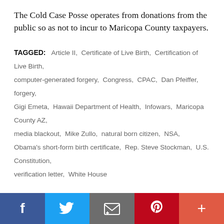The Cold Case Posse operates from donations from the public so as not to incur to Maricopa County taxpayers.
TAGGED: Article II, Certificate of Live Birth, Certification of Live Birth, computer-generated forgery, Congress, CPAC, Dan Pfeiffer, forgery, Gigi Emeta, Hawaii Department of Health, Infowars, Maricopa County AZ, media blackout, Mike Zullo, natural born citizen, NSA, Obama's short-form birth certificate, Rep. Steve Stockman, U.S. Constitution, verification letter, White House
Leave a comment
[Figure (infographic): Social share buttons: Facebook (blue), Twitter (light blue), Email (gray), Pinterest (red), Plus/more (orange-red)]